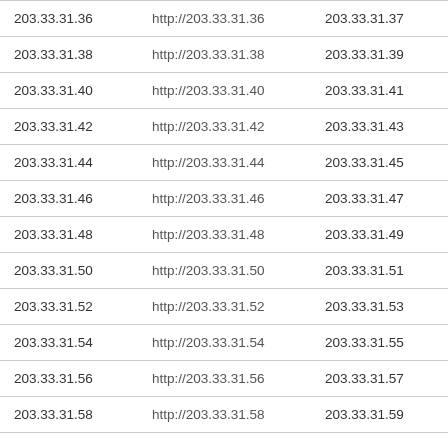| 203.33.31.36 | http://203.33.31.36 | 203.33.31.37 | http://203 |
| 203.33.31.38 | http://203.33.31.38 | 203.33.31.39 | http://203 |
| 203.33.31.40 | http://203.33.31.40 | 203.33.31.41 | http://203 |
| 203.33.31.42 | http://203.33.31.42 | 203.33.31.43 | http://203 |
| 203.33.31.44 | http://203.33.31.44 | 203.33.31.45 | http://203 |
| 203.33.31.46 | http://203.33.31.46 | 203.33.31.47 | http://203 |
| 203.33.31.48 | http://203.33.31.48 | 203.33.31.49 | http://203 |
| 203.33.31.50 | http://203.33.31.50 | 203.33.31.51 | http://203 |
| 203.33.31.52 | http://203.33.31.52 | 203.33.31.53 | http://203 |
| 203.33.31.54 | http://203.33.31.54 | 203.33.31.55 | http://203 |
| 203.33.31.56 | http://203.33.31.56 | 203.33.31.57 | http://203 |
| 203.33.31.58 | http://203.33.31.58 | 203.33.31.59 | http://203 |